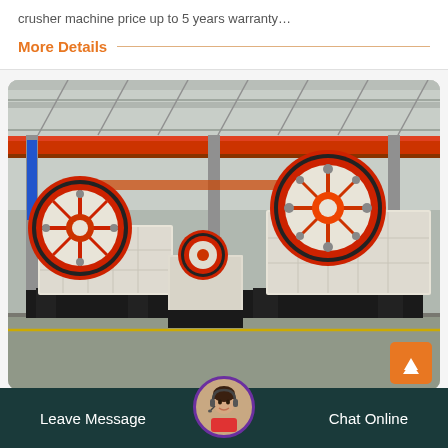crusher machine price up to 5 years warranty…
More Details
[Figure (photo): Industrial factory floor showing two large jaw crusher machines with distinctive red and white circular flywheels, set against a factory interior with red overhead cranes and steel framework ceiling.]
Leave Message
Chat Online